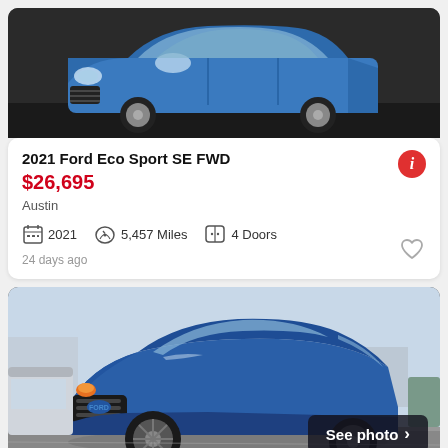[Figure (photo): Front/side view of a blue 2021 Ford EcoSport SE FWD SUV against a dark background]
2021 Ford Eco Sport SE FWD
$26,695
Austin
2021   5,457 Miles   4 Doors
24 days ago
[Figure (photo): Front 3/4 view of a blue Ford Escape/EcoSport SUV in a parking lot with a 'See photo >' overlay button]